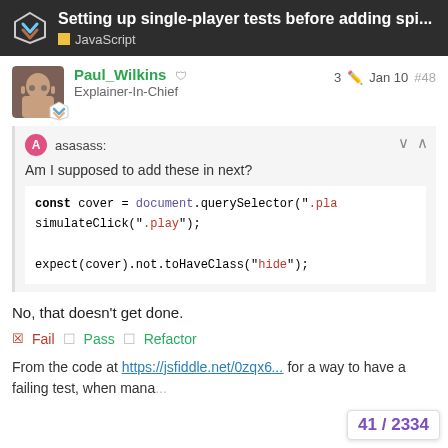Setting up single-player tests before adding spi... JavaScript
Paul_Wilkins Explainer-In-Chief   3  Jan 10  #48
asasass:
Am I supposed to add these in next?

const cover = document.querySelector(".pla
simulateCick(".play");

expect(cover).not.toHaveClass("hide");
No, that doesn't get done.
Fail  Pass  Refactor
From the code at https://jsfiddle.net/0zqx6... for a way to have a failing test, when mana...